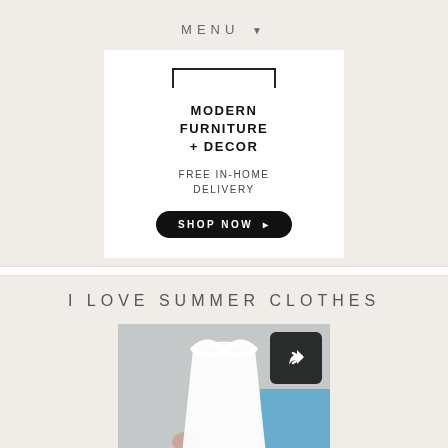MENU ▼
[Figure (infographic): Advertisement for modern furniture and decor. White box with logo bar at top, bold text 'MODERN FURNITURE + DECOR', subtext 'FREE IN-HOME DELIVERY', and a black rounded 'SHOP NOW ▸' button.]
I LOVE SUMMER CLOTHES
[Figure (photo): Photo of a white halter/cami top with crossed straps laid on a gray background, with a blue item and tropical scene visible at bottom right. A dark share button icon is overlaid in the top right corner of the photo.]